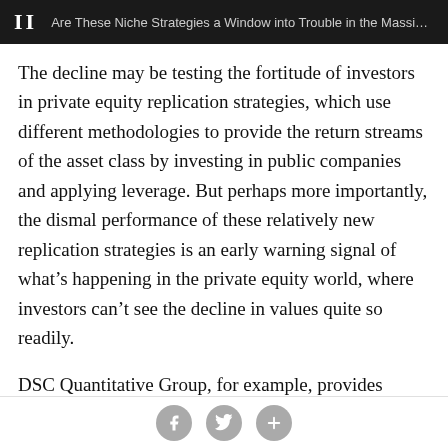II  Are These Niche Strategies a Window into Trouble in the Massive Private ...
The decline may be testing the fortitude of investors in private equity replication strategies, which use different methodologies to provide the return streams of the asset class by investing in public companies and applying leverage. But perhaps more importantly, the dismal performance of these relatively new replication strategies is an early warning signal of what’s happening in the private equity world, where investors can’t see the decline in values quite so readily.
DSC Quantitative Group, for example, provides investors access to the “beta,” or the performance of the entire private equity market. The Thomson Reuters Private
social share buttons